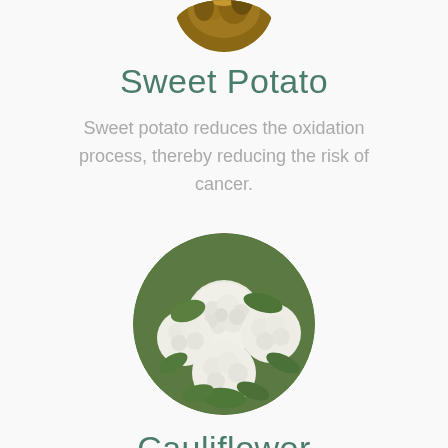[Figure (photo): Circular cropped photo of sweet potato, partially visible at top of page]
Sweet Potato
Sweet potato reduces the oxidation process, thereby reducing the risk of cancer.
[Figure (photo): Circular cropped photo of cauliflower heads with green leaves]
Cauliflower